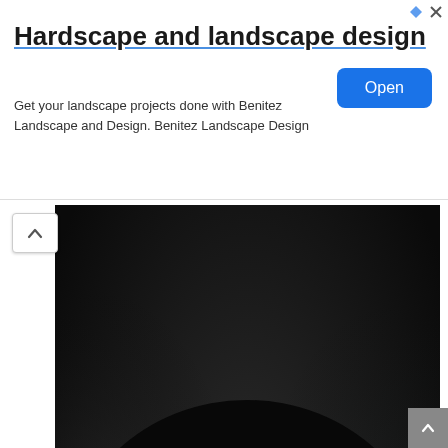Hardscape and landscape design
Get your landscape projects done with Benitez Landscape and Design. Benitez Landscape Design
[Figure (photo): A decorative beaded bowl or gourd with intricate turquoise, red, and gold dot patterns on a black background, reflected on a dark surface. Watermark reads colorpointart.livemaster.ru]
Image Source